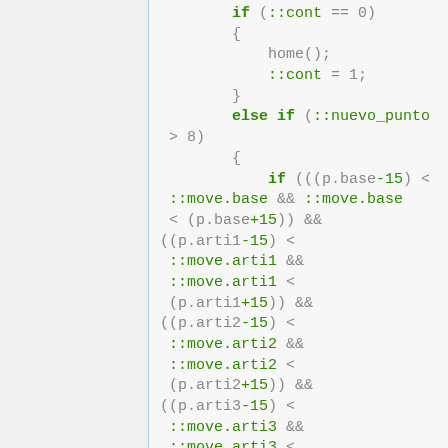[Figure (screenshot): Source code snippet showing C++ robot control logic with if/else conditions checking ::cont, ::nuevo_punto, and various move/arti position comparisons]